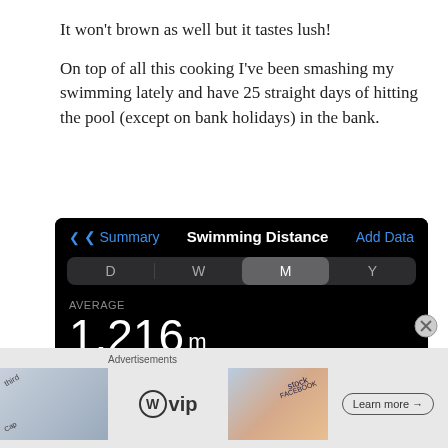It won't brown as well but it tastes lush!
On top of all this cooking I've been smashing my swimming lately and have 25 straight days of hitting the pool (except on bank holidays) in the bank.
[Figure (screenshot): Apple Health app screenshot showing Swimming Distance data. Navigation bar with back arrow 'Summary', title 'Swimming Distance', and 'Add Data' link. Segment control with D, W, M (selected), Y tabs. AVERAGE label with value 1,216 m. Date range 14/12/19 – 13/01/20.]
[Figure (screenshot): Advertisement bar showing WordPress VIP logo and 'Learn more' button with map/social media imagery background.]